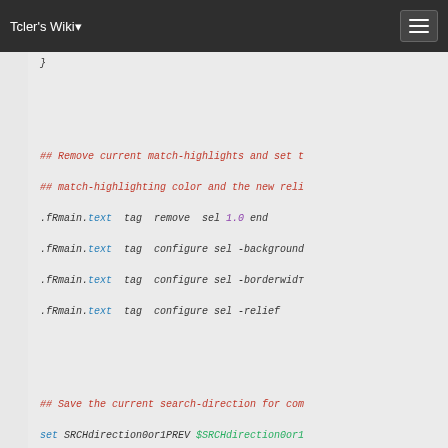Tcler's Wiki
[Figure (screenshot): Code snippet from Tcler's Wiki showing Tcl code with syntax highlighting. Contains comments about removing match-highlights, configuring sel tag, saving search direction, and testing puts statements. Code shown in monospace italic font on light grey background.]